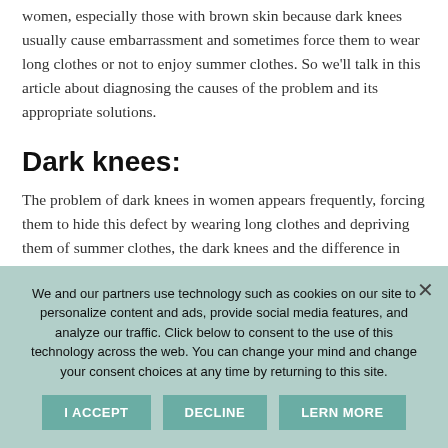women, especially those with brown skin because dark knees usually cause embarrassment and sometimes force them to wear long clothes or not to enjoy summer clothes. So we'll talk in this article about diagnosing the causes of the problem and its appropriate solutions.
Dark knees:
The problem of dark knees in women appears frequently, forcing them to hide this defect by wearing long clothes and depriving them of summer clothes, the dark knees and the difference in color from the rest of the body due to the
We and our partners use technology such as cookies on our site to personalize content and ads, provide social media features, and analyze our traffic. Click below to consent to the use of this technology across the web. You can change your mind and change your consent choices at any time by returning to this site.